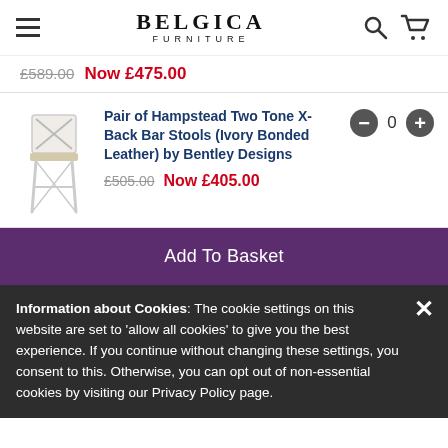BELGICA FURNITURE
£589.00 Now £475.00
[Figure (photo): White X-back bar stool with wooden seat]
Pair of Hampstead Two Tone X-Back Bar Stools (Ivory Bonded Leather) by Bentley Designs £505.00 Now £405.00
0
Add To Basket
Information about Cookies: The cookie settings on this website are set to 'allow all cookies' to give you the best experience. If you continue without changing these settings, you consent to this. Otherwise, you can opt out of non-essential cookies by visiting our Privacy Policy page.